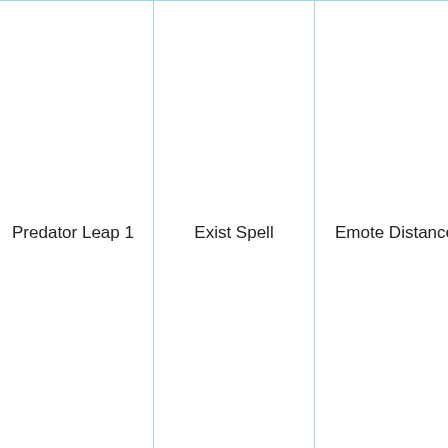|  |  | Predator Leap 1 | Exist Spell | Emote Distance | Description |
| --- | --- | --- | --- | --- | --- |
|  |  | Predator Leap 1 | Exist Spell | Emote Distance | to instantly leap towards their target. This attack is a guaranteed hit, always causing the target to fall on their back to the ground with the user on top pinning them down with their arms. This does not count as keeping the target restrained, a |